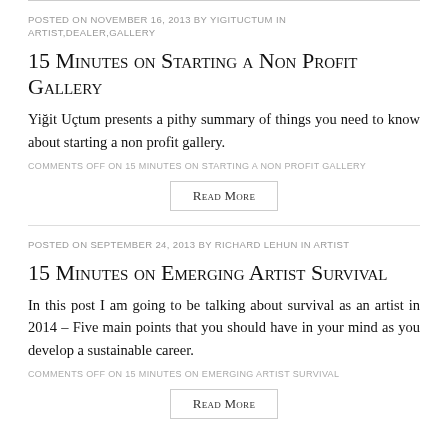POSTED ON NOVEMBER 16, 2013 BY YIGITUCTUM IN ARTIST,DEALER,GALLERY
15 Minutes on Starting a Non Profit Gallery
Yiğit Uçtum presents a pithy summary of things you need to know about starting a non profit gallery.
COMMENTS OFF ON 15 MINUTES ON STARTING A NON PROFIT GALLERY
Read More
POSTED ON SEPTEMBER 24, 2013 BY RICHARD LEHUN IN ARTIST
15 Minutes on Emerging Artist Survival
In this post I am going to be talking about survival as an artist in 2014 – Five main points that you should have in your mind as you develop a sustainable career.
COMMENTS OFF ON 15 MINUTES ON EMERGING ARTIST SURVIVAL
Read More